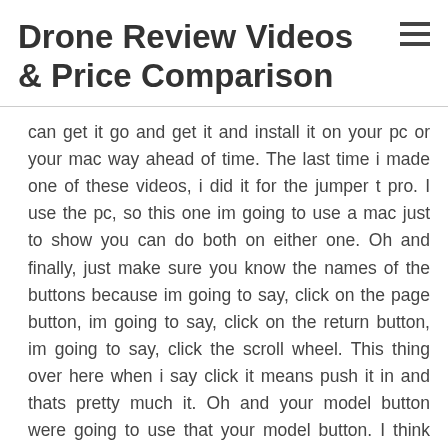Drone Review Videos & Price Comparison
can get it go and get it and install it on your pc or your mac way ahead of time. The last time i made one of these videos, i did it for the jumper t pro. I use the pc, so this one im going to use a mac just to show you can do both on either one. Oh and finally, just make sure you know the names of the buttons because im going to say, click on the page button, im going to say, click on the return button, im going to say, click the scroll wheel. This thing over here when i say click it means push it in and thats pretty much it. Oh and your model button were going to use that your model button. I think thats it and just make sure you know those buttons youll hear me say them. So just know which ones to press